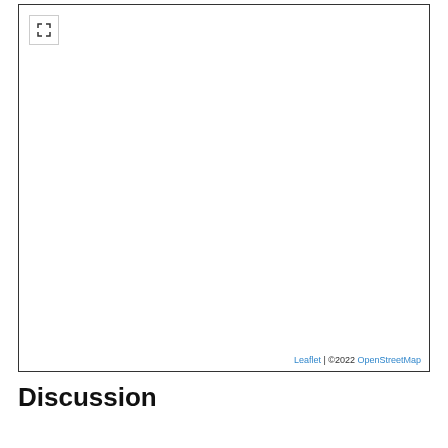[Figure (map): A blank/empty Leaflet map with a fullscreen button in the top-left corner. Attribution text reads 'Leaflet | ©2022 OpenStreetMap' in the bottom-right corner.]
Discussion